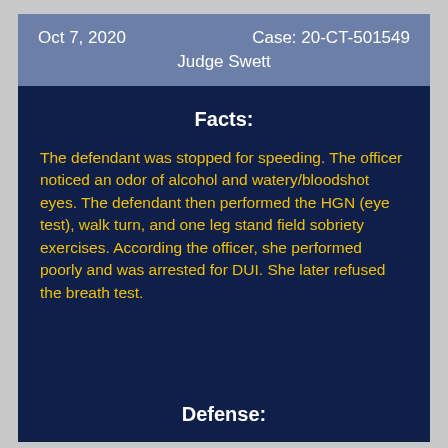Oct 7, 2020    Case: 20-CT-501549    Judge Swett
Facts:
The defendant was stopped for speeding. The officer noticed an odor of alcohol and watery/bloodshot eyes. The defendant then performed the HGN (eye test), walk turn, and one leg stand field sobriety exercises. According the officer, she performed poorly and was arrested for DUI. She later refused the breath test.
Defense: